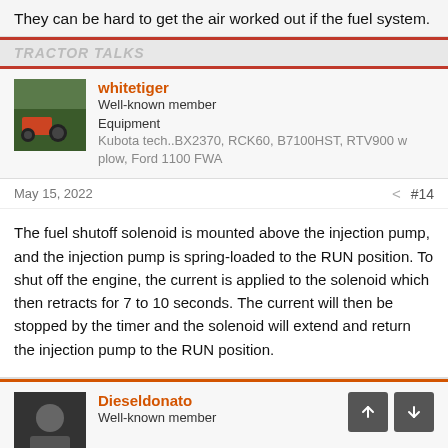They can be hard to get the air worked out if the fuel system.
TRACTOR TALKS
whitetiger
Well-known member
Equipment
Kubota tech..BX2370, RCK60, B7100HST, RTV900 w plow, Ford 1100 FWA
May 15, 2022  #14
The fuel shutoff solenoid is mounted above the injection pump, and the injection pump is spring-loaded to the RUN position. To shut off the engine, the current is applied to the solenoid which then retracts for 7 to 10 seconds. The current will then be stopped by the timer and the solenoid will extend and return the injection pump to the RUN position.
Dieseldonato
Well-known member